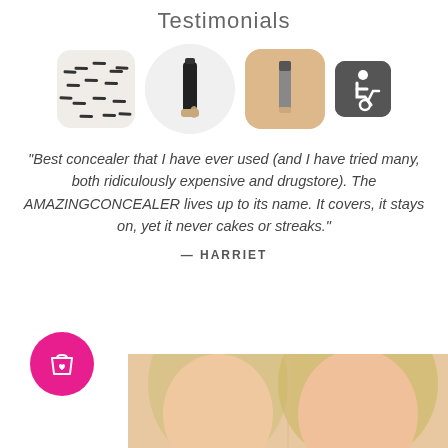Testimonials
[Figure (photo): Four product thumbnail images: a pattern swatch with black dashes (rounded square), a foundation bottle on white circle background, a concealer tube on nude/beige rounded square, and a wheelchair accessibility icon on dark rounded square]
"Best concealer that I have ever used (and I have tried many, both ridiculously expensive and drugstore). The AMAZINGCONCEALER lives up to its name. It covers, it stays on, yet it never cakes or streaks."
— HARRIET
[Figure (photo): Pink circular cart/wishlist button icon at lower left, and a photo of a blonde woman at lower right]
[Figure (photo): Partial photo of a blonde woman at the bottom of the page]